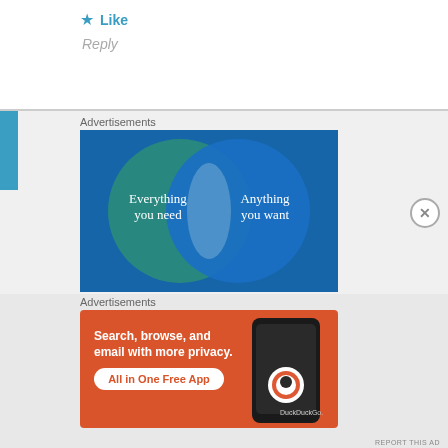★ Like
Reply
Advertisements
[Figure (infographic): Venn diagram advertisement on dark blue background showing two overlapping circles: left circle (teal/green) labeled 'Everything you need', right circle (blue) labeled 'Anything you want', with overlapping intersection area in lighter blue.]
Advertisements
[Figure (infographic): DuckDuckGo advertisement on orange/red background. Text reads 'Search, browse, and email with more privacy. All in One Free App' with DuckDuckGo logo and phone image on the right.]